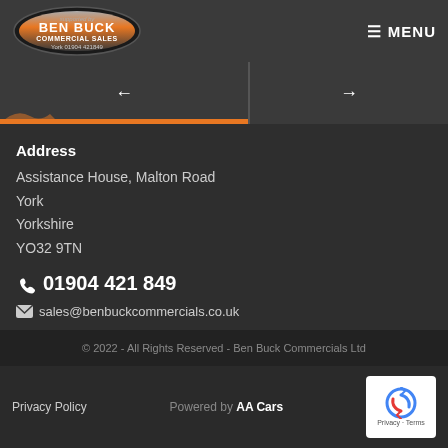BEN BUCK COMMERCIAL SALES York 01904 421849 | MENU
[Figure (screenshot): Slider navigation bar with left and right arrow buttons, left section highlighted with orange underline]
Address
Assistance House, Malton Road
York
Yorkshire
YO32 9TN
01904 421 849
sales@benbuckcommercials.co.uk
© 2022 - All Rights Reserved - Ben Buck Commercials Ltd
Privacy Policy
Powered by AA Cars